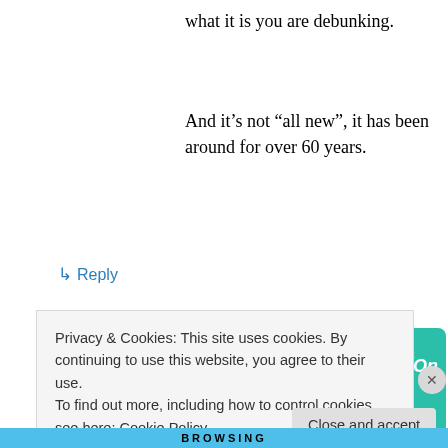what it is you are debunking.
And it's not “all new”, it has been around for over 60 years.
↳ Reply
[Figure (illustration): Advertisement for a podcast app showing bold text 'For podcast lovers.' with 'Download now' in red, alongside podcast cover card images including '99% Invisible' on a black grid background with yellow square logo, and a green card.]
Privacy & Cookies: This site uses cookies. By continuing to use this website, you agree to their use.
To find out more, including how to control cookies, see here: Cookie Policy
Close and accept
BROWSING